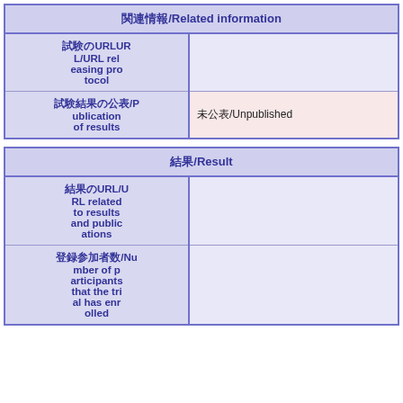| 関連情報/Related information |
| --- |
| 試験のURLURL releasing protocol |  |
| 試験結果の公表/Publication of results | 未公表/Unpublished |
| 結果/Result |
| --- |
| 結果のURL/URL related to results and publications |  |
| 登録参加者数/Number of participants that the trial has enrolled |  |